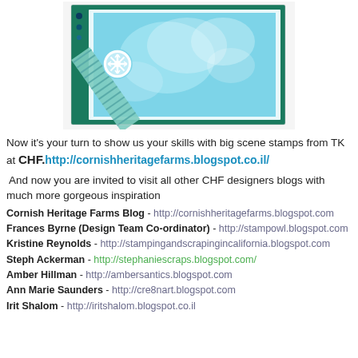[Figure (photo): A handmade craft card with teal/blue background, snowflake embellishment, patterned ribbon, and textured blue stamped panel]
Now it's your turn to show us your skills with big scene stamps from TK at CHF.http://cornishheritagefarms.blogspot.co.il/
And now you are invited to visit all other CHF designers blogs with much more gorgeous inspiration
Cornish Heritage Farms Blog - http://cornishheritagefarms.blogspot.com
Frances Byrne (Design Team Co-ordinator) - http://stampowl.blogspot.com
Kristine Reynolds - http://stampingandscrapingincalifornia.blogspot.com
Steph Ackerman - http://stephaniescraps.blogspot.com/
Amber Hillman - http://ambersantics.blogspot.com
Ann Marie Saunders - http://cre8nart.blogspot.com
Irit Shalom - http://iritshalom.blogspot.co.il